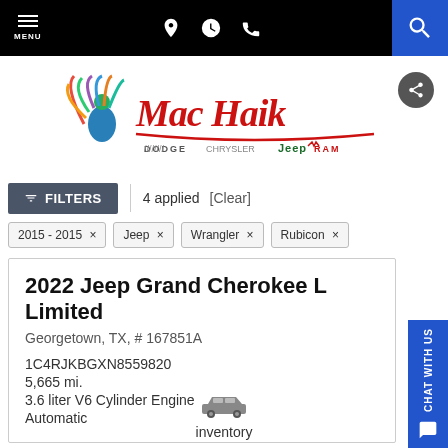MENU | navigation icons | search
[Figure (logo): Mac Haik Dodge Chrysler Jeep Ram dealership logo with colorful peacock bird]
FILTERS | 4 applied [Clear]
2015 - 2015 ×
Jeep ×
Wrangler ×
Rubicon ×
2022 Jeep Grand Cherokee L Limited
Georgetown, TX, #167851A
1C4RJKBGXN8559820
5,665 mi.
3.6 liter V6 Cylinder Engine
Automatic
[Figure (illustration): Car silhouette icon above the word inventory]
inventory